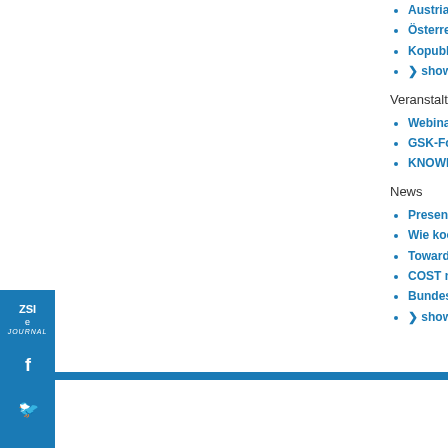Austrian Resear...
Österreichische...
Kopublikationsa...
❯ show more ..
Veranstaltungen
Webinar: Daten ...
GSK-Forschung...
KNOWMAK – La...
News
Presentation at ...
Wie kooperiert Ö...
Towards clearer...
COST network o...
Bundesstatistik...
❯ show more ..
[Figure (other): ZSI e-Journal sidebar with social media icons: Facebook, Twitter, Vimeo on blue background]
[Figure (other): Blue horizontal bar at bottom of page]